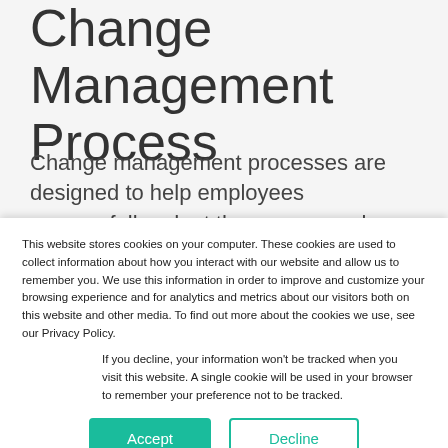Change Management Process
Change management processes are designed to help employees successfully adopt the new normal. These processes should be designed to fit the specific needs of your organization based on what you find
This website stores cookies on your computer. These cookies are used to collect information about how you interact with our website and allow us to remember you. We use this information in order to improve and customize your browsing experience and for analytics and metrics about our visitors both on this website and other media. To find out more about the cookies we use, see our Privacy Policy.
If you decline, your information won't be tracked when you visit this website. A single cookie will be used in your browser to remember your preference not to be tracked.